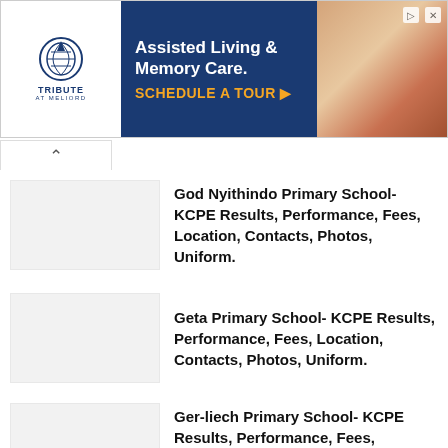[Figure (infographic): Advertisement banner for Tribute at Melford Assisted Living & Memory Care with schedule a tour CTA]
God Nyithindo Primary School- KCPE Results, Performance, Fees, Location, Contacts, Photos, Uniform.
Geta Primary School- KCPE Results, Performance, Fees, Location, Contacts, Photos, Uniform.
Ger-liech Primary School- KCPE Results, Performance, Fees, Location, Contacts, Photos, Uniform.
Genesis Junior Primary School- KCPE Results, Performance, Fees, Location, Contacts, Photos, Uniform.